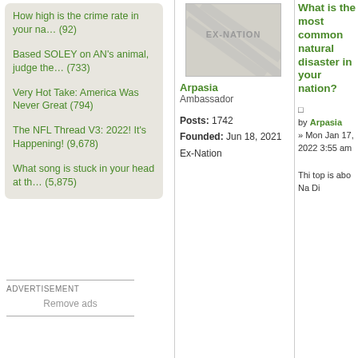How high is the crime rate in your na… (92)
Based SOLEY on AN's animal, judge the… (733)
Very Hot Take: America Was Never Great (794)
The NFL Thread V3: 2022! It's Happening! (9,678)
What song is stuck in your head at th… (5,875)
ADVERTISEMENT
Remove ads
[Figure (other): EX-NATION logo/flag placeholder image in grey tones]
Arpasia
Ambassador
Posts: 1742
Founded: Jun 18, 2021
Ex-Nation
What is the most common natural disaster in your nation?
by Arpasia » Mon Jan 17, 2022 3:55 am
This topic is about Na Di